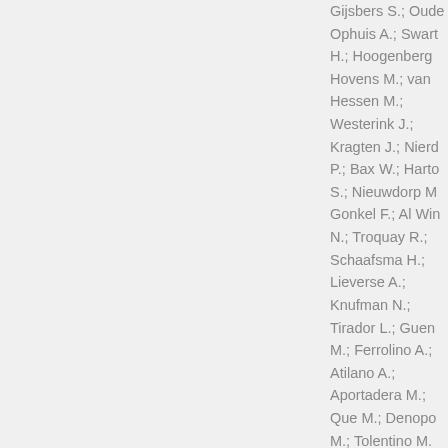Gijsbers S.; Oude Ophuis A.; Swart H.; Hoogenberg Hovens M.; van Hessen M.; Westerink J.; Kragten J.; Nierd P.; Bax W.; Harto S.; Nieuwdorp M Gonkel F.; Al Win N.; Troquay R.; Schaafsma H.; Lieverse A.; Knufman N.; Tirador L.; Guen M.; Ferrolino A.; Atilano A.; Aportadera M.; Que M.; Denopo M.; Tolentino M.